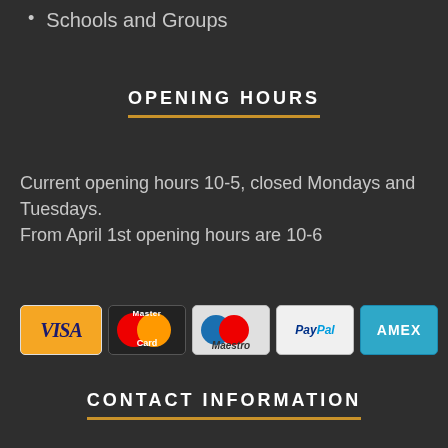Schools and Groups
OPENING HOURS
Current opening hours 10-5, closed Mondays and Tuesdays.
From April 1st opening hours are 10-6
[Figure (other): Payment method logos: VISA, MasterCard, Maestro, PayPal, AMEX]
CONTACT INFORMATION